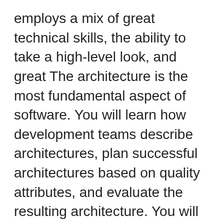employs a mix of great technical skills, the ability to take a high-level look, and great The architecture is the most fundamental aspect of software. You will learn how development teams describe architectures, plan successful architectures based on quality attributes, and evaluate the resulting architecture. You will also learn how architecture relates to organization structure and even product planning! 4 videos (Total 43 min) This course introduces the essential concepts of software architecture. A software architecture is an abstract view of a software system distinct from the details of implementation, algorithms, and data representation. Architecture is, increasingly, a crucial part of a software organization's business strategy.